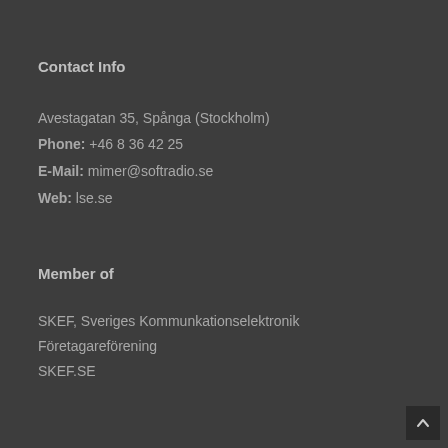Contact Info
Avestagatan 35, Spånga (Stockholm)
Phone: +46 8 36 42 25
E-Mail: mimer@softradio.se
Web: lse.se
Member of
SKEF, Sveriges Kommunkationselektronik
Företagareförening
SKEF.SE